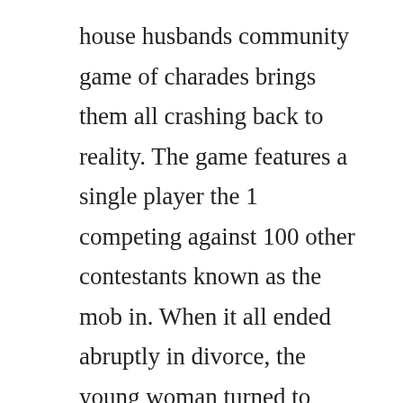house husbands community game of charades brings them all crashing back to reality. The game features a single player the 1 competing against 100 other contestants known as the mob in. When it all ended abruptly in divorce, the young woman turned to crystal meth, and her parents believe her only hope is an intervention.
We will find a few such choices in every episode just like in the last part of twd. Elsewhere and other popular tv shows and movies including new releases, classics, hulu